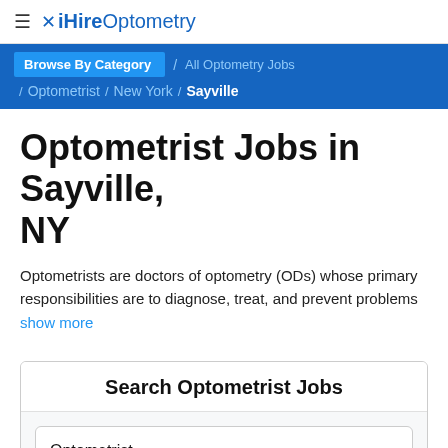≡ iHireOptometry
Browse By Category / All Optometry Jobs / Optometrist / New York / Sayville
Optometrist Jobs in Sayville, NY
Optometrists are doctors of optometry (ODs) whose primary responsibilities are to diagnose, treat, and prevent problems
show more
Search Optometrist Jobs
Optometrist
Sayville, NY